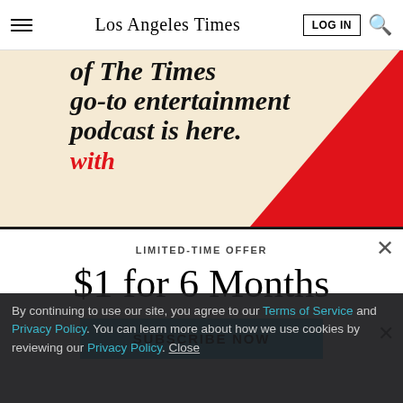Los Angeles Times
[Figure (infographic): Los Angeles Times podcast advertisement banner with text 'of The Times go-to entertainment podcast is here.' in bold black serif italic font on cream background, with 'with' in red, and a red diagonal stripe in the lower-right corner.]
LIMITED-TIME OFFER
$1 for 6 Months
SUBSCRIBE NOW
By continuing to use our site, you agree to our Terms of Service and Privacy Policy. You can learn more about how we use cookies by reviewing our Privacy Policy. Close